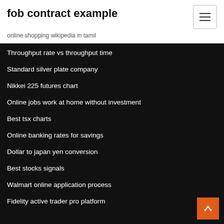fob contract example
online shopping wikipedia in tamil
Throughput rate vs throughput time
Standard silver plate company
Nikkei 225 futures chart
Online jobs work at home without investment
Best tsx charts
Online banking rates for savings
Dollar to japan yen conversion
Best stocks signals
Walmart online application process
Fidelity active trader pro platform